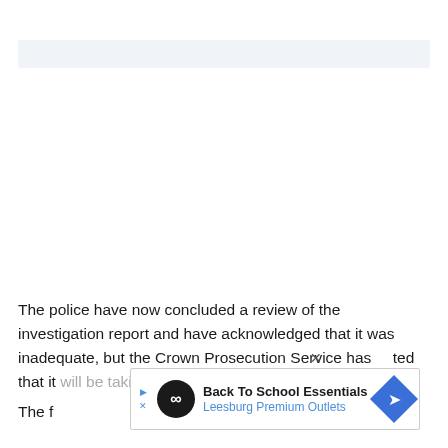[Figure (other): Light blue-grey header bar at top of page (navigation/header UI element)]
The police have now concluded a review of the investigation report and have acknowledged that it was inadequate, but the Crown Prosecution Service has stated that it will be taking no further action in relation to the case.
[Figure (other): Advertisement overlay: Back To School Essentials - Leesburg Premium Outlets, with play button, infinity logo circle, and blue diamond navigation icon. Close (X) button visible.]
The [partial text]... Radc[partial text]...eath